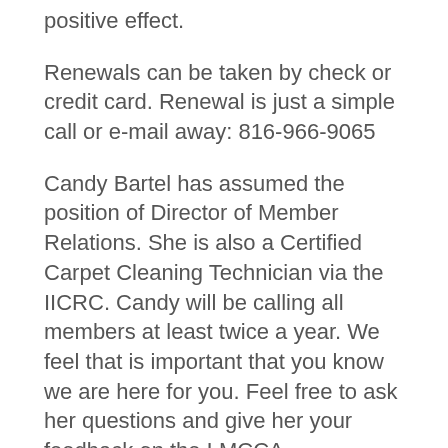positive effect.
Renewals can be taken by check or credit card. Renewal is just a simple call or e-mail away: 816-966-9065
Candy Bartel has assumed the position of Director of Member Relations. She is also a Certified Carpet Cleaning Technician via the IICRC. Candy will be calling all members at least twice a year. We feel that is important that you know we are here for you. Feel free to ask her questions and give her your feedback on the LMCCA.
The LMCCA is headed to Orlando, FL for the IICRC Certification Board